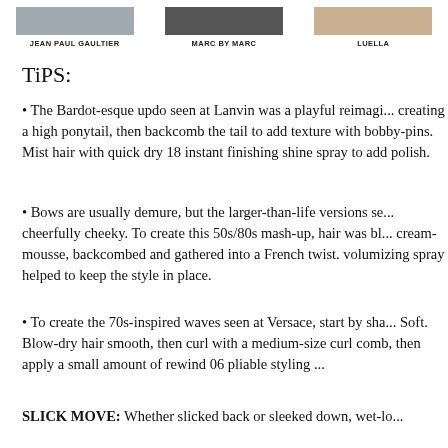[Figure (photo): Three fashion runway photos partially visible at top of page]
JEAN PAUL GAULTIER
MARC BY MARC
LUELLA
TiPS:
The Bardot-esque updo seen at Lanvin was a playful reimagi... creating a high ponytail, then backcomb the tail to add texture with bobby-pins. Mist hair with quick dry 18 instant finishing shine spray to add polish.
Bows are usually demure, but the larger-than-life versions se... cheerfully cheeky. To create this 50s/80s mash-up, hair was bl... cream-mousse, backcombed and gathered into a French twist. volumizing spray helped to keep the style in place.
To create the 70s-inspired waves seen at Versace, start by sha... Soft. Blow-dry hair smooth, then curl with a medium-size curl comb, then apply a small amount of rewind 06 pliable styling ...
SLICK MOVE: Whether slicked back or sleeked down, wet-lo...